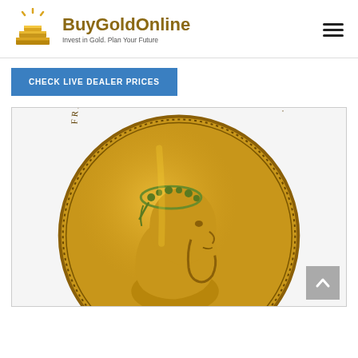[Figure (logo): BuyGoldOnline logo with gold bars icon, site name in gold-brown bold text, tagline 'Invest in Gold. Plan Your Future' in dark gray]
CHECK LIVE DEALER PRICES
[Figure (photo): Close-up of a gold Austrian coin (8 Florin / 20 Francs) showing the portrait of Emperor Franz Joseph I with laurel wreath, text around rim reads FRANCISCVS IOSEPHVS I D G IMPERATOR]